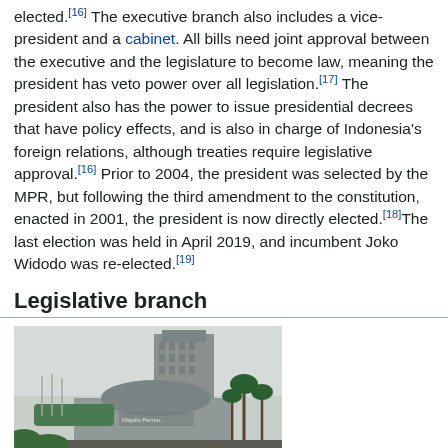elected.[16] The executive branch also includes a vice-president and a cabinet. All bills need joint approval between the executive and the legislature to become law, meaning the president has veto power over all legislation.[17] The president also has the power to issue presidential decrees that have policy effects, and is also in charge of Indonesia's foreign relations, although treaties require legislative approval.[16] Prior to 2004, the president was selected by the MPR, but following the third amendment to the constitution, enacted in 2001, the president is now directly elected.[18]The last election was held in April 2019, and incumbent Joko Widodo was re-elected.[19]
Legislative branch
[Figure (photo): Photo of the legislative building complex of Indonesia, showing a large modern building with a circular dome-like structure, green landscape and palm trees in front.]
The legislative building complex.